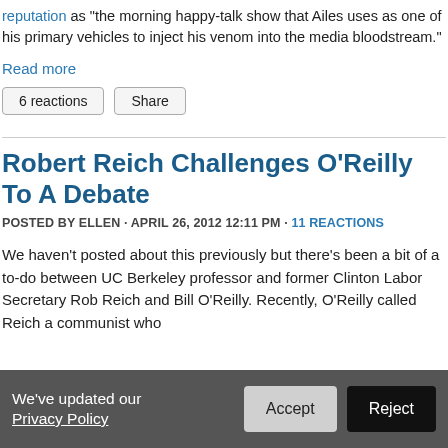reputation as "the morning happy-talk show that Ailes uses as one of his primary vehicles to inject his venom into the media bloodstream."
Read more
6 reactions   Share
Robert Reich Challenges O'Reilly To A Debate
POSTED BY ELLEN · APRIL 26, 2012 12:11 PM · 11 REACTIONS
We haven't posted about this previously but there's been a bit of a to-do between UC Berkeley professor and former Clinton Labor Secretary Rob Reich and Bill O'Reilly. Recently, O'Reilly called Reich a communist who
We've updated our Privacy Policy   Accept   Reject